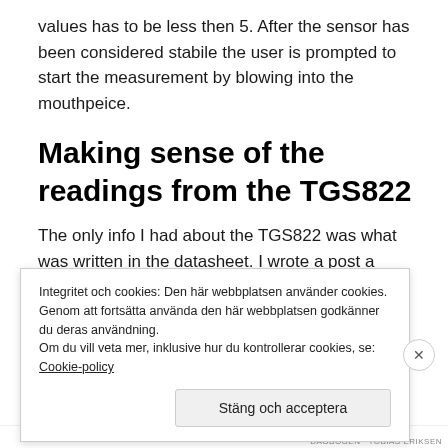values has to be less then 5. After the sensor has been considered stabile the user is prompted to start the measurement by blowing into the mouthpeice.
Making sense of the readings from the TGS822
The only info I had about the TGS822 was what was written in the datasheet. I wrote a post a
Integritet och cookies: Den här webbplatsen använder cookies. Genom att fortsätta använda den här webbplatsen godkänner du deras användning.
Om du vill veta mer, inklusive hur du kontrollerar cookies, se: Cookie-policy
Stäng och acceptera